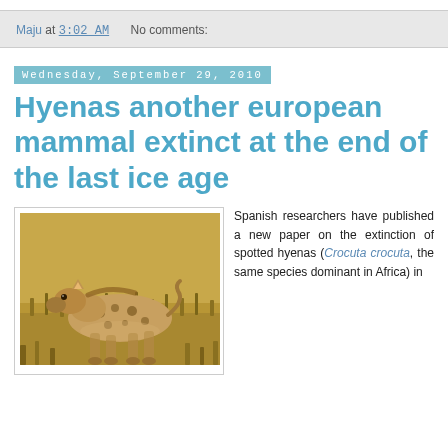Maju at 3:02 AM    No comments:
Wednesday, September 29, 2010
Hyenas another european mammal extinct at the end of the last ice age
[Figure (photo): A spotted hyena (Crocuta crocuta) walking in dry grassland savanna]
Spanish researchers have published a new paper on the extinction of spotted hyenas (Crocuta crocuta, the same species dominant in Africa) in